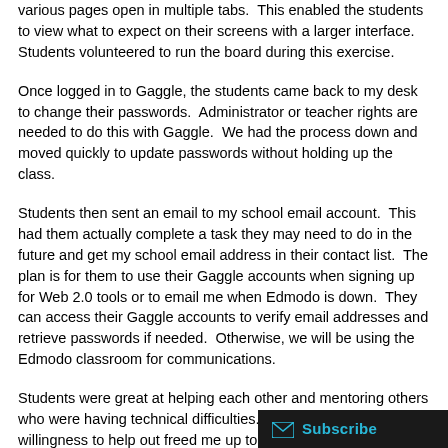various pages open in multiple tabs.  This enabled the students to view what to expect on their screens with a larger interface.  Students volunteered to run the board during this exercise.
Once logged in to Gaggle, the students came back to my desk to change their passwords.  Administrator or teacher rights are needed to do this with Gaggle.  We had the process down and moved quickly to update passwords without holding up the class.
Students then sent an email to my school email account.  This had them actually complete a task they may need to do in the future and get my school email address in their contact list.  The plan is for them to use their Gaggle accounts when signing up for Web 2.0 tools or to email me when Edmodo is down.  They can access their Gaggle accounts to verify email addresses and retrieve passwords if needed.  Otherwise, we will be using the Edmodo classroom for communications.
Students were great at helping each other and mentoring others who were having technical difficulties.  Their ability and willingness to help out freed me up to handle issue